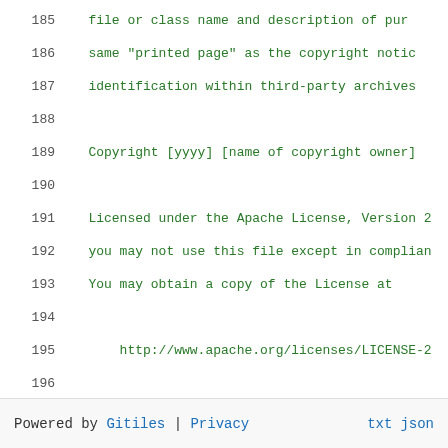185   file or class name and description of pur
186   same "printed page" as the copyright notic
187   identification within third-party archives
188
189     Copyright [yyyy] [name of copyright owner]
190
191     Licensed under the Apache License, Version 2
192     you may not use this file except in complian
193     You may obtain a copy of the License at
194
195         http://www.apache.org/licenses/LICENSE-2
196
197     Unless required by applicable law or agreed 
198     distributed under the License is distributed
199     WITHOUT WARRANTIES OR CONDITIONS OF ANY KIND
200     See the License for the specific language go
201     limitations under the License.
Powered by Gitiles | Privacy  txt  json